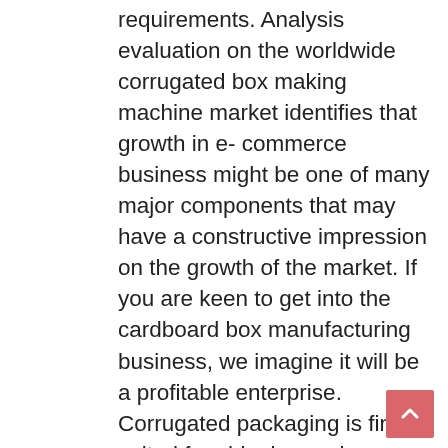requirements. Analysis evaluation on the worldwide corrugated box making machine market identifies that growth in e- commerce business might be one of many major components that may have a constructive impression on the growth of the market. If you are keen to get into the cardboard box manufacturing business, we imagine it will be a profitable enterprise. Corrugated packaging is finest suited for shipping and transporting various merchandise that are fragile in nature. eighty% of commercial packaging is done by carton bins attributable to effective cushioning, gentle weight, straightforward to fabricate, simple for storing, straightforward for disposal, no strapping essential, printing and advertising benefits, must in export market, recyclable